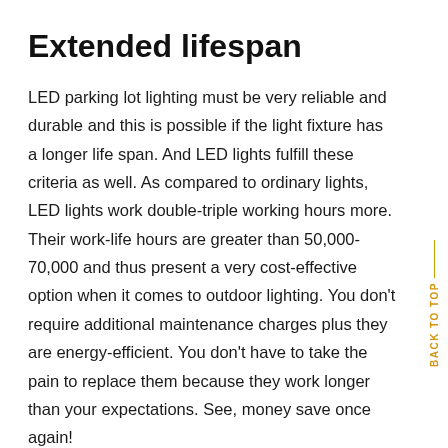Extended lifespan
LED parking lot lighting must be very reliable and durable and this is possible if the light fixture has a longer life span. And LED lights fulfill these criteria as well. As compared to ordinary lights, LED lights work double-triple working hours more. Their work-life hours are greater than 50,000-70,000 and thus present a very cost-effective option when it comes to outdoor lighting. You don’t require additional maintenance charges plus they are energy-efficient. You don’t have to take the pain to replace them because they work longer than your expectations. See, money save once again!